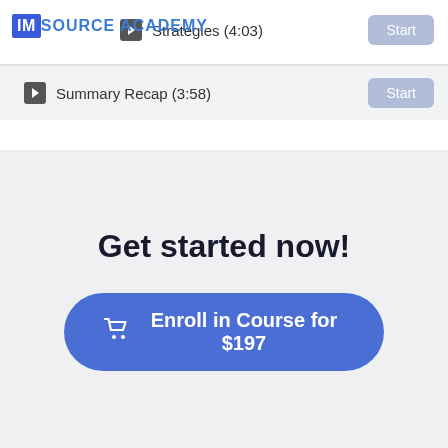[Figure (logo): IM Source Academy logo with blue IM box and blue text]
Strategies (4:03) — Start
Summary Recap (3:58) — Start
Get started now!
Enroll in Course for $197